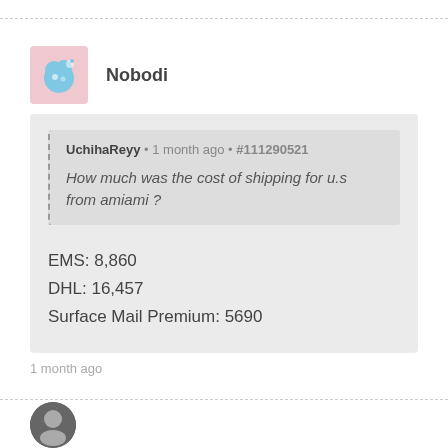[Figure (illustration): Avatar icon of Nobodi - blue cartoon cloud character on pink background]
Nobodi
UchihaReyy • 1 month ago • #111290521
How much was the cost of shipping for u.s from amiami ?
EMS: 8,860
DHL: 16,457
Surface Mail Premium: 5690
1 month ago
[Figure (illustration): Small avatar of next user - dark circular avatar]